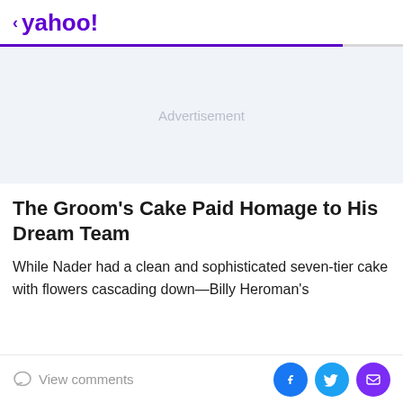< yahoo!
[Figure (other): Advertisement placeholder block with light blue-gray background and 'Advertisement' label in gray text]
The Groom's Cake Paid Homage to His Dream Team
While Nader had a clean and sophisticated seven-tier cake with flowers cascading down—Billy Heroman's
View comments | Facebook share | Twitter share | Email share